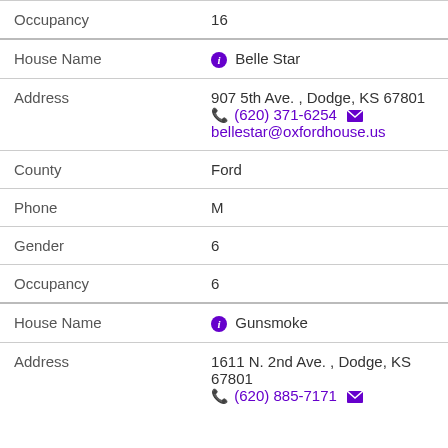| Occupancy | 16 |
| House Name | Belle Star |
| Address | 907 5th Ave. , Dodge, KS 67801 (620) 371-6254 bellestar@oxfordhouse.us |
| County | Ford |
| Phone | M |
| Gender | 6 |
| Occupancy | 6 |
| House Name | Gunsmoke |
| Address | 1611 N. 2nd Ave. , Dodge, KS 67801 (620) 885-7171 |